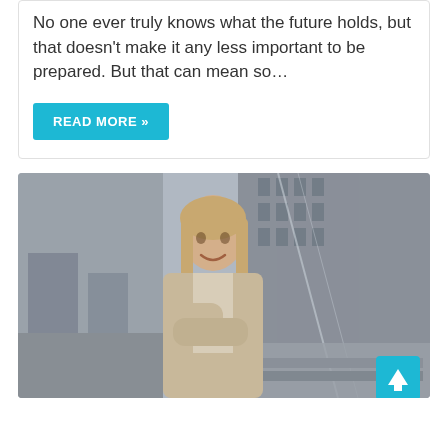No one ever truly knows what the future holds, but that doesn't make it any less important to be prepared. But that can mean so…
READ MORE »
[Figure (photo): Professional businesswoman with blonde hair in a beige blazer, arms crossed, standing in front of modern office buildings in an urban setting. A teal/cyan scroll-to-top arrow button is visible in the bottom right corner of the image.]